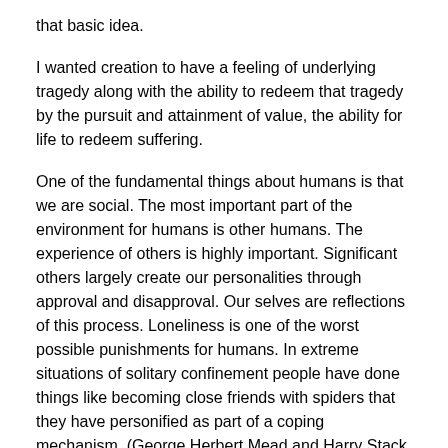that basic idea.
I wanted creation to have a feeling of underlying tragedy along with the ability to redeem that tragedy by the pursuit and attainment of value, the ability for life to redeem suffering.
One of the fundamental things about humans is that we are social. The most important part of the environment for humans is other humans. The experience of others is highly important. Significant others largely create our personalities through approval and disapproval. Our selves are reflections of this process. Loneliness is one of the worst possible punishments for humans. In extreme situations of solitary confinement people have done things like becoming close friends with spiders that they have personified as part of a coping mechanism. (George Herbert Mead and Harry Stack Sullivan are good references here.)
I made a few adjustments when I was writing this. Here are some things that I dropped.